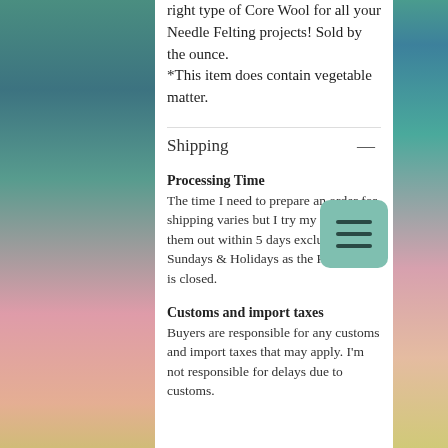right type of Core Wool for all your Needle Felting projects! Sold by the ounce.
*This item does contain vegetable matter.
[Figure (screenshot): Hamburger menu icon button with teal/green background and three horizontal bars]
Shipping
Processing Time
The time I need to prepare an order for shipping varies but I try my best to get them out within 5 days excluding Sundays & Holidays as the Post Office is closed.
Customs and import taxes
Buyers are responsible for any customs and import taxes that may apply. I'm not responsible for delays due to customs.